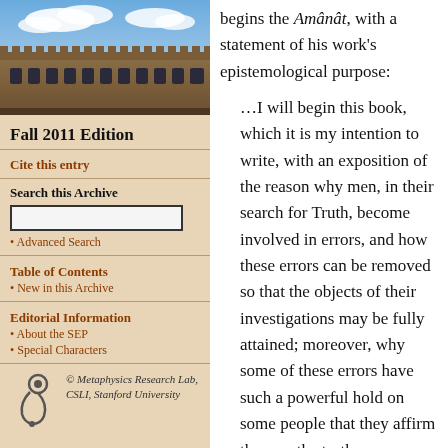[Figure (photo): Aerial or ground-level photo of a historic stone university building with Gothic architecture under a blue sky with clouds]
Fall 2011 Edition
Cite this entry
Search this Archive
Advanced Search
Table of Contents
New in this Archive
Editorial Information
About the SEP
Special Characters
© Metaphysics Research Lab, CSLI, Stanford University
begins the Amânât, with a statement of his work's epistemological purpose:
…I will begin this book, which it is my intention to write, with an exposition of the reason why men, in their search for Truth, become involved in errors, and how these errors can be removed so that the objects of their investigations may be fully attained; moreover, why some of these errors have such a powerful hold on some people that they affirm them as the truth, deluding…